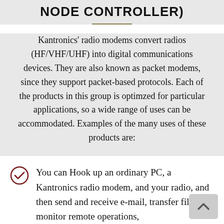NODE CONTROLLER)
Kantronics' radio modems convert radios (HF/VHF/UHF) into digital communications devices. They are also known as packet modems, since they support packet-based protocols. Each of the products in this group is optimzed for particular applications, so a wide range of uses can be accommodated. Examples of the many uses of these products are:
You can Hook up an ordinary PC, a Kantronics radio modem, and your radio, and then send and receive e-mail, transfer files, monitor remote operations,